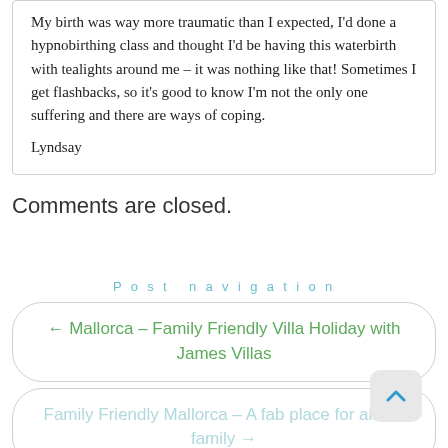My birth was way more traumatic than I expected, I'd done a hypnobirthing class and thought I'd be having this waterbirth with tealights around me – it was nothing like that! Sometimes I get flashbacks, so it's good to know I'm not the only one suffering and there are ways of coping.

Lyndsay
Comments are closed.
Post navigation
← Mallorca – Family Friendly Villa Holiday with James Villas
Family Friendly Mallorca – A fab place for all the family →